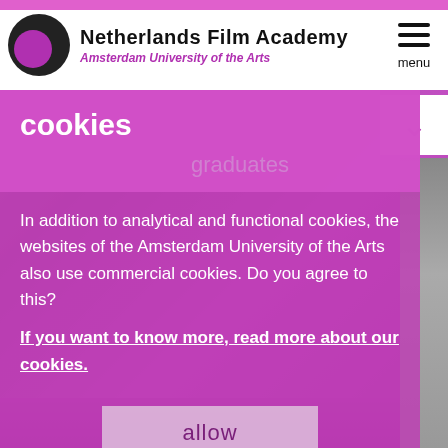Netherlands Film Academy
Amsterdam University of the Arts
cookies
graduates
In addition to analytical and functional cookies, the websites of the Amsterdam University of the Arts also use commercial cookies. Do you agree to this?
If you want to know more, read more about our cookies.
allow
rather not